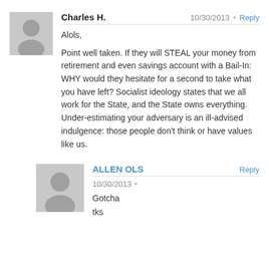[Figure (illustration): Gray placeholder avatar icon for Charles H.]
Charles H.  10/30/2013  •  Reply
Alols,

Point well taken. If they will STEAL your money from retirement and even savings account with a Bail-In: WHY would they hesitate for a second to take what you have left? Socialist ideology states that we all work for the State, and the State owns everything. Under-estimating your adversary is an ill-advised indulgence: those people don't think or have values like us.
[Figure (illustration): Gray placeholder avatar icon for Allen Ols.]
ALLEN OLS  Reply
10/30/2013  •
Gotcha
tks